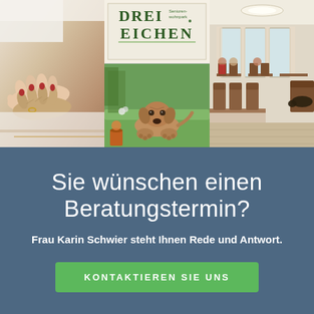[Figure (photo): Three-panel photo collage: left shows elderly hands being held by caregiver, center shows a sign reading 'Drei Eichen Seniorenwohnpark' above a golden/brown dog lying on grass, right shows a bright dining room with tables and chairs]
Sie wünschen einen Beratungstermin?
Frau Karin Schwier steht Ihnen Rede und Antwort.
KONTAKTIEREN SIE UNS